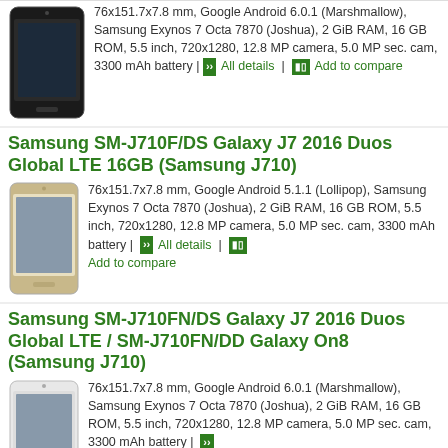76x151.7x7.8 mm, Google Android 6.0.1 (Marshmallow), Samsung Exynos 7 Octa 7870 (Joshua), 2 GiB RAM, 16 GB ROM, 5.5 inch, 720x1280, 12.8 MP camera, 5.0 MP sec. cam, 3300 mAh battery | All details | Add to compare
Samsung SM-J710F/DS Galaxy J7 2016 Duos Global LTE 16GB (Samsung J710)
76x151.7x7.8 mm, Google Android 5.1.1 (Lollipop), Samsung Exynos 7 Octa 7870 (Joshua), 2 GiB RAM, 16 GB ROM, 5.5 inch, 720x1280, 12.8 MP camera, 5.0 MP sec. cam, 3300 mAh battery | All details | Add to compare
Samsung SM-J710FN/DS Galaxy J7 2016 Duos Global LTE / SM-J710FN/DD Galaxy On8 (Samsung J710)
76x151.7x7.8 mm, Google Android 6.0.1 (Marshmallow), Samsung Exynos 7 Octa 7870 (Joshua), 2 GiB RAM, 16 GB ROM, 5.5 inch, 720x1280, 12.8 MP camera, 5.0 MP sec. cam, 3300 mAh battery | All details | Add to compare
Samsung SM-J7108 Galaxy J7 2016 Duos TD-LTE CN 16GB (Samsung J710)
76x151.7x7.8 mm, Google Android 5.1.1 (Lollipop), Samsung Exynos 7 Octa 7870 (Joshua), 2 GiB RAM, 16 GB ROM, 5.5 inch, 1080x1920